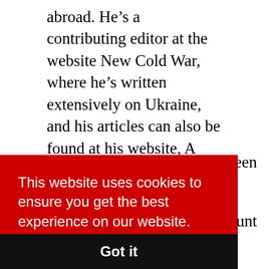abroad. He's a contributing editor at the website New Cold War, where he's written extensively on Ukraine, and his articles can also be found at his website, A Socialist in Canada, and at Rabble.ca, and Counterpunch.org.
Roger Annis in the first segment.
...een ...unt in
[Figure (screenshot): Cookie consent banner overlay with red background. Text reads: 'This website uses cookies to ensure you get the best experience on our website.' with a 'Learn more' underlined link. Below is a black bar with 'Got it' button text.]
defense contracts as it can muster, possibly